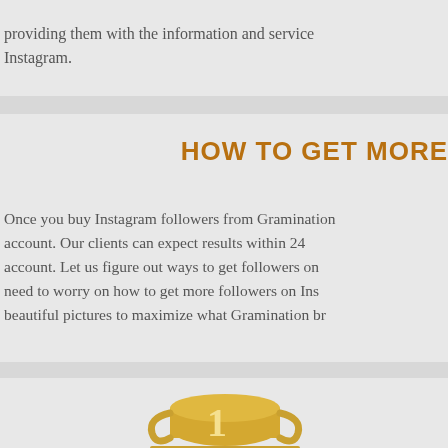providing them with the information and service Instagram.
HOW TO GET MORE
Once you buy Instagram followers from Gramination account. Our clients can expect results within 24 account. Let us figure out ways to get followers on need to worry on how to get more followers on Instagram beautiful pictures to maximize what Gramination brings.
[Figure (illustration): A golden trophy with the number 1 and an Instagram label at the base, partially visible at the bottom of the page.]